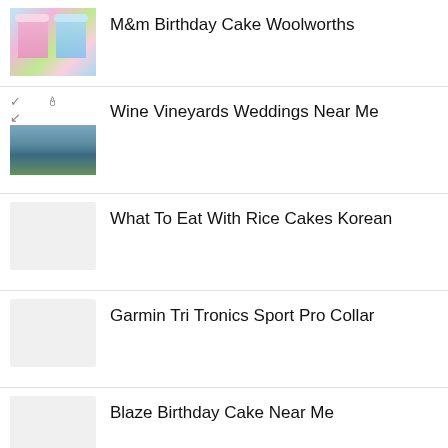M&m Birthday Cake Woolworths
Wine Vineyards Weddings Near Me
What To Eat With Rice Cakes Korean
Garmin Tri Tronics Sport Pro Collar
Blaze Birthday Cake Near Me
Art Rich Photography Manchester High School